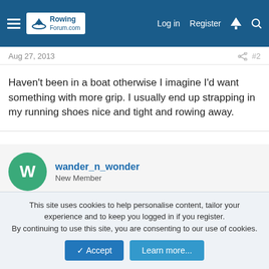RowingForum.com — Log in | Register
Aug 27, 2013   #2
Haven't been in a boat otherwise I imagine I'd want something with more grip. I usually end up strapping in my running shoes nice and tight and rowing away.
wander_n_wonder
New Member
Sep 18, 2013   #3
shaun said: ↑
What type of footwear do you use for indoor rowing?
This site uses cookies to help personalise content, tailor your experience and to keep you logged in if you register.
By continuing to use this site, you are consenting to our use of cookies.